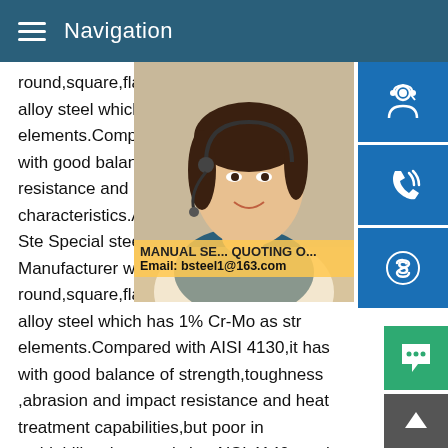Navigation
round,square,flat,block,and shaft etc.AISI alloy steel which has 1% Cr-Mo as strengt elements.Compared with AISI 4130,it has with good balance of strength,toughness , resistance and heat treatment capabilities. characteristics.AISI AISI 4140 - Quality Ste Special steelAISI 4140 steel Manufacturer with round,square,flat,block,and shaft etc. low alloy steel which has 1% Cr-Mo as str elements.Compared with AISI 4130,it has with good balance of strength,toughness ,abrasion and impact resistance and heat treatment capabilities,but poor in weldability characteristics.AISI 4140 steel round bar SAE4140 forging ste 4140AISI 4140 bars are hardened by heating to 845 4140 forg alloy steel round bars#176;C followed by quenching in oil.Normalising It can be normalized by heating at 913 4140 fo
[Figure (photo): Customer service representative woman with headset, partial view]
[Figure (infographic): Three blue icon buttons on right side: headset/customer service icon, phone icon, Skype icon]
MANUAL SE... QUOTING O... Email: bsteel1@163.com